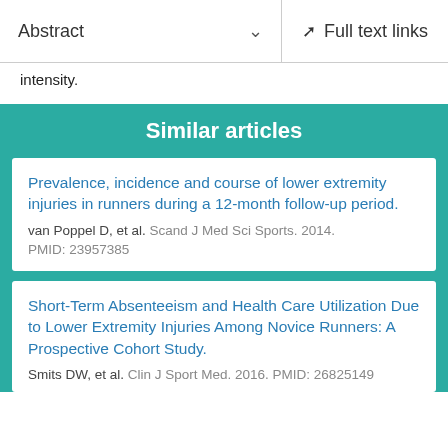Abstract    Full text links
intensity.
Similar articles
Prevalence, incidence and course of lower extremity injuries in runners during a 12-month follow-up period.
van Poppel D, et al. Scand J Med Sci Sports. 2014. PMID: 23957385
Short-Term Absenteeism and Health Care Utilization Due to Lower Extremity Injuries Among Novice Runners: A Prospective Cohort Study.
Smits DW, et al. Clin J Sport Med. 2016. PMID: 26825149